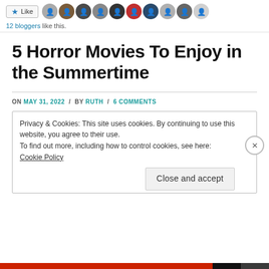[Figure (other): Like button with star icon and a strip of blogger avatar photos]
12 bloggers like this.
5 Horror Movies To Enjoy in the Summertime
ON MAY 31, 2022 / BY RUTH / 6 COMMENTS
Privacy & Cookies: This site uses cookies. By continuing to use this website, you agree to their use.
To find out more, including how to control cookies, see here: Cookie Policy
Close and accept